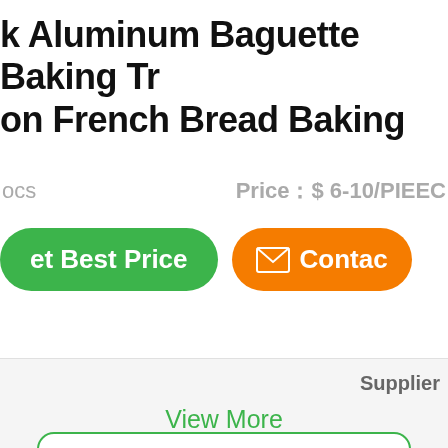k Aluminum Baguette Baking Tr on French Bread Baking
ocs    Price：$ 6-10/PIEЕС
et Best Price
Contac
Supplier
View More